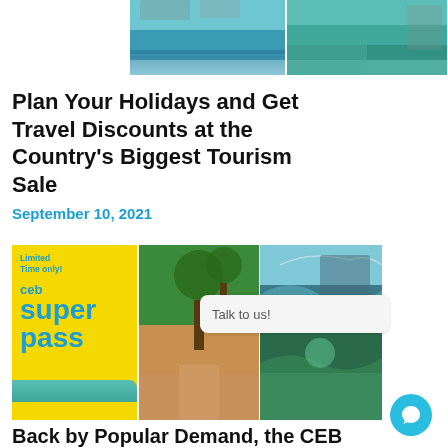[Figure (photo): Two pool/resort photos side by side at top of page]
Plan Your Holidays and Get Travel Discounts at the Country's Biggest Tourism Sale
September 10, 2021
[Figure (photo): Cebu Pacific Super Pass promotional banner with travel destination photos]
Talk to us!
Back by Popular Demand, the CEB